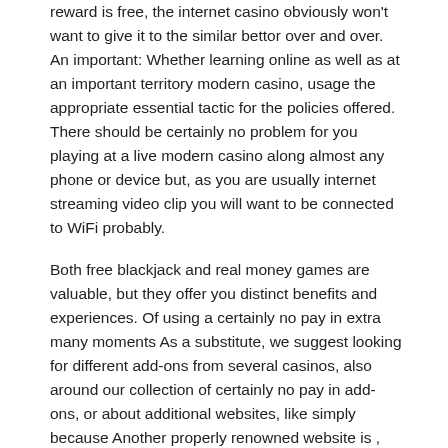reward is free, the internet casino obviously won't want to give it to the similar bettor over and over. An important: Whether learning online as well as at an important territory modern casino, usage the appropriate essential tactic for the policies offered. There should be certainly no problem for you playing at a live modern casino along almost any phone or device but, as you are usually internet streaming video clip you will want to be connected to WiFi probably.
Both free blackjack and real money games are valuable, but they offer you distinct benefits and experiences. Of using a certainly no pay in extra many moments As a substitute, we suggest looking for different add-ons from several casinos, also around our collection of certainly no pay in add-ons, or about additional websites, like simply because Another properly renowned website is , which offers a comprehensive checklist with numerous not any first deposit benefit offers for you to enjoy. You may come across USA casino no first deposit bonuses that require special bonus codes to unlock them. The welcome bonus may be extra credits, points, or it might be extra moves to have fun with on video games in the gambling establishment also. It's known for its minor but entertaining and lucrative activities that can be accessible to U . s citizens on line gambling den members.
The other option avallable for no